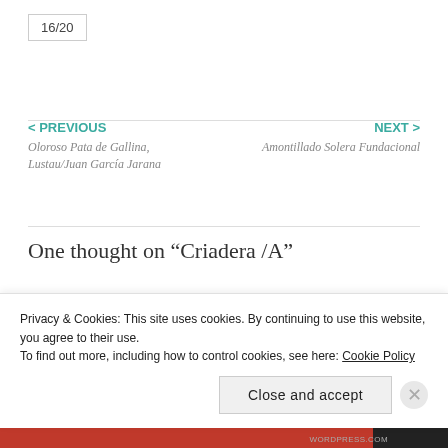16/20
< PREVIOUS
Oloroso Pata de Gallina, Lustau/Juan García Jarana
NEXT >
Amontillado Solera Fundacional
One thought on “Criadera /A”
Javier Noval Tuñón
01 JUN, 2017 AT 14:02
Privacy & Cookies: This site uses cookies. By continuing to use this website, you agree to their use.
To find out more, including how to control cookies, see here: Cookie Policy
Close and accept